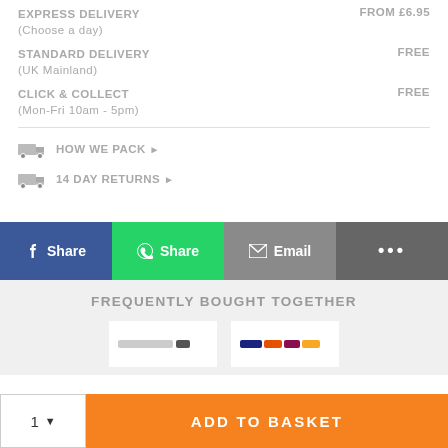EXPRESS DELIVERY (Choose a day) — FROM £6.95
STANDARD DELIVERY (UK Mainland) — FREE
CLICK & COLLECT (Mon-Fri 10am - 5pm) — FREE
HOW WE PACK
14 DAY RETURNS
[Figure (screenshot): Share buttons: Facebook Share (blue), WhatsApp Share (green), Email (grey), More options (dark grey with ellipsis)]
FREQUENTLY BOUGHT TOGETHER
[Figure (photo): Two product thumbnail images shown side by side, partially visible]
1 ▾  ADD TO BASKET